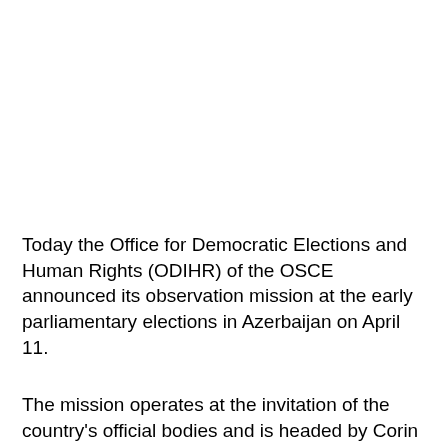Today the Office for Democratic Elections and Human Rights (ODIHR) of the OSCE announced its observation mission at the early parliamentary elections in Azerbaijan on April 11.
The mission operates at the invitation of the country's official bodies and is headed by Corin Jonker.
In the basic composition of the mission there are also 10 experts. Besides, starting from March 15, 20 long-term